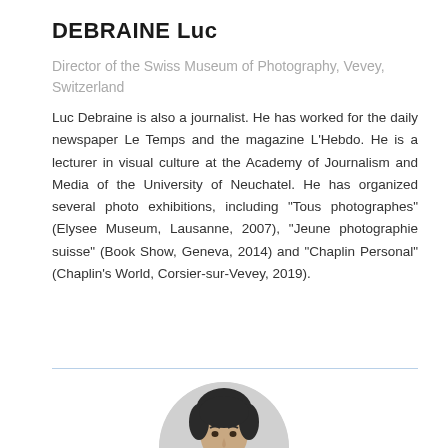DEBRAINE Luc
Director of the Swiss Museum of Photography, Vevey, Switzerland
Luc Debraine is also a journalist. He has worked for the daily newspaper Le Temps and the magazine L’Hebdo. He is a lecturer in visual culture at the Academy of Journalism and Media of the University of Neuchatel. He has organized several photo exhibitions, including “Tous photographes” (Elysee Museum, Lausanne, 2007), “Jeune photographie suisse” (Book Show, Geneva, 2014) and “Chaplin Personal” (Chaplin’s World, Corsier-sur-Vevey, 2019).
[Figure (photo): Circular portrait photo of Luc Debraine, partially visible at bottom of page, showing head and shoulders against a grey circular background.]